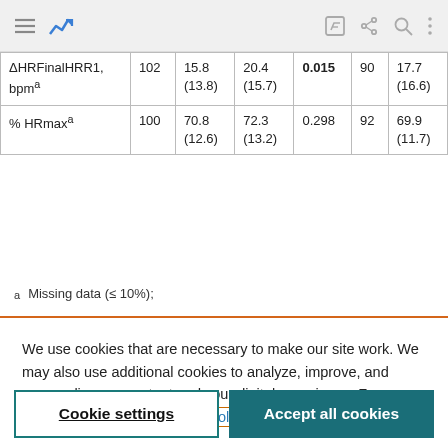|  |  |  |  |  |  |  |
| --- | --- | --- | --- | --- | --- | --- |
| ΔHRFinalHRR1, bpmᵃ | 102 | 15.8 (13.8) | 20.4 (15.7) | 0.015 | 90 | 17.7 (16.6) |
| % HRmaxᵃ | 100 | 70.8 (12.6) | 72.3 (13.2) | 0.298 | 92 | 69.9 (11.7) |
a  Missing data (≤ 10%);
We use cookies that are necessary to make our site work. We may also use additional cookies to analyze, improve, and personalize our content and your digital experience. For more information, see our Cookie Policy
Cookie settings
Accept all cookies